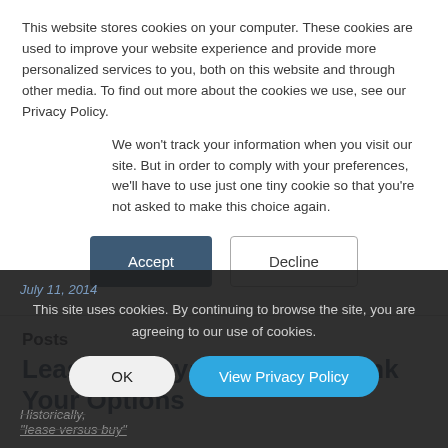This website stores cookies on your computer. These cookies are used to improve your website experience and provide more personalized services to you, both on this website and through other media. To find out more about the cookies we use, see our Privacy Policy.
We won't track your information when you visit our site. But in order to comply with your preferences, we'll have to use just one tiny cookie so that you're not asked to make this choice again.
Accept
Decline
Posts
Lease vs Buy: Time to Rethink Your Options
This site uses cookies. By continuing to browse the site, you are agreeing to our use of cookies.
OK
View Privacy Policy
Historically,
"lease versus buy"